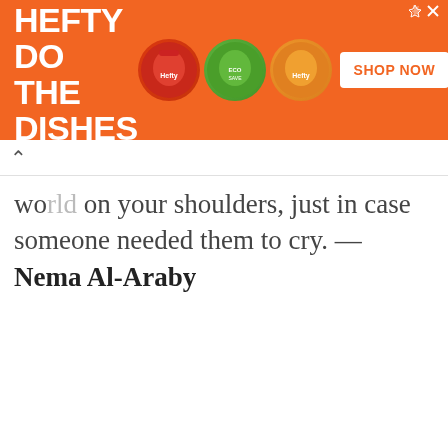[Figure (infographic): Hefty advertisement banner with orange background reading 'LET HEFTY DO THE DISHES', product images of dish soap containers, SHOP NOW button, and copyright notice '© 2022 Reynolds Consumer Products LLC']
world on your shoulders, just in case someone needed them to cry. — Nema Al-Araby